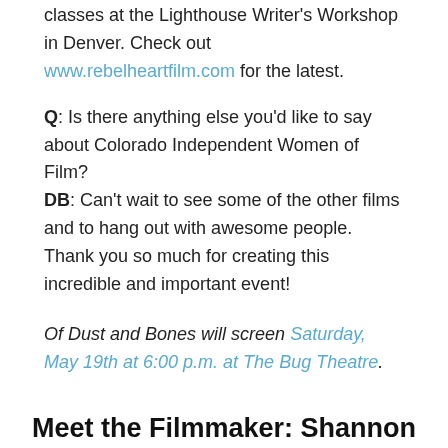classes at the Lighthouse Writer's Workshop in Denver. Check out www.rebelheartfilm.com for the latest.
Q: Is there anything else you'd like to say about Colorado Independent Women of Film?
DB: Can't wait to see some of the other films and to hang out with awesome people. Thank you so much for creating this incredible and important event!
Of Dust and Bones will screen Saturday, May 19th at 6:00 p.m. at The Bug Theatre.
Meet the Filmmaker: Shannon